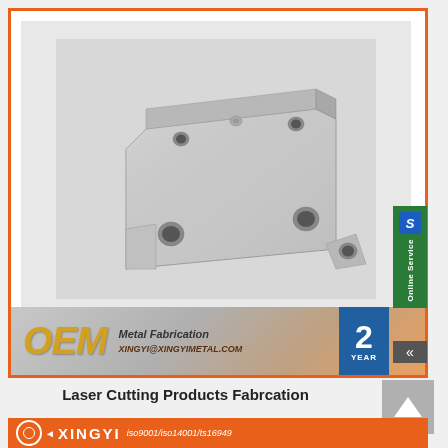[Figure (photo): Metal sheet fabrication bracket/plate with multiple mounting holes, laser cut, bent at top edge, machined stainless steel appearance]
[Figure (logo): OEM Metal Fabrication banner with email xingyi@xingyimetal.com and years badge, plus Online Service tab]
Laser Cutting Products Fabrcation
[Figure (logo): XINGYI company banner with iso9001/iso14001/ts16949 certifications]